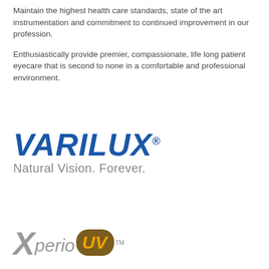Maintain the highest health care standards, state of the art instrumentation and commitment to continued improvement in our profession.
Enthusiastically provide premier, compassionate, life long patient eyecare that is second to none in a comfortable and professional environment.
[Figure (logo): Varilux logo in blue bold italic text with registered trademark symbol, tagline: Natural Vision. Forever. in gray]
[Figure (logo): Xperio UV logo with gray stylized X and text, UV in orange on dark brown rounded badge with TM mark]